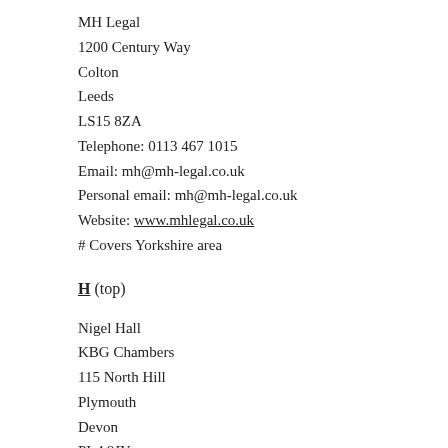MH Legal
1200 Century Way
Colton
Leeds
LS15 8ZA
Telephone: 0113 467 1015
Email: mh@mh-legal.co.uk
Personal email: mh@mh-legal.co.uk
Website: www.mhlegal.co.uk
# Covers Yorkshire area
H (top)
Nigel Hall
KBG Chambers
115 North Hill
Plymouth
Devon
PL4 8JY